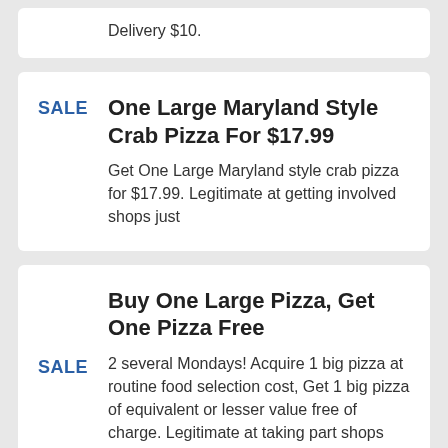Delivery $10.
One Large Maryland Style Crab Pizza For $17.99
Get One Large Maryland style crab pizza for $17.99. Legitimate at getting involved shops just
Buy One Large Pizza, Get One Pizza Free
2 several Mondays! Acquire 1 big pizza at routine food selection cost, Get 1 big pizza of equivalent or lesser value free of charge. Legitimate at taking part shops just. Legitimate on Mondays just.